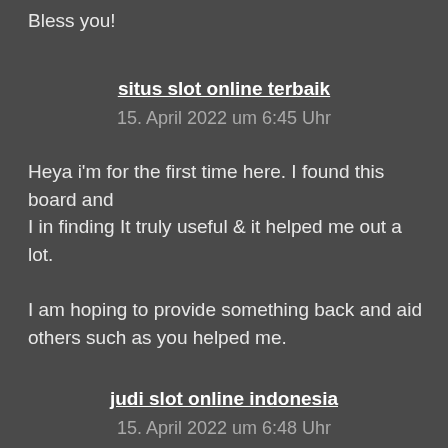Bless you!
situs slot online terbaik
15. April 2022 um 6:45 Uhr
Heya i'm for the first time here. I found this board and
I in finding It truly useful & it helped me out a lot.
I am hoping to provide something back and aid others such as you helped me.
judi slot online indonesia
15. April 2022 um 6:48 Uhr